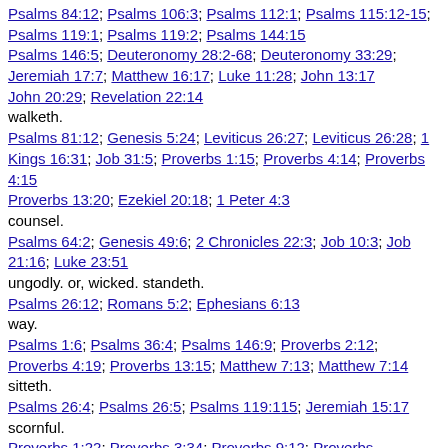Psalms 84:12; Psalms 106:3; Psalms 112:1; Psalms 115:12-15; Psalms 119:1; Psalms 119:2; Psalms 144:15 Psalms 146:5; Deuteronomy 28:2-68; Deuteronomy 33:29; Jeremiah 17:7; Matthew 16:17; Luke 11:28; John 13:17
John 20:29; Revelation 22:14
walketh.
Psalms 81:12; Genesis 5:24; Leviticus 26:27; Leviticus 26:28; 1 Kings 16:31; Job 31:5; Proverbs 1:15; Proverbs 4:14; Proverbs 4:15
Proverbs 13:20; Ezekiel 20:18; 1 Peter 4:3
counsel.
Psalms 64:2; Genesis 49:6; 2 Chronicles 22:3; Job 10:3; Job 21:16; Luke 23:51
ungodly. or, wicked. standeth.
Psalms 26:12; Romans 5:2; Ephesians 6:13
way.
Psalms 1:6; Psalms 36:4; Psalms 146:9; Proverbs 2:12; Proverbs 4:19; Proverbs 13:15; Matthew 7:13; Matthew 7:14
sitteth.
Psalms 26:4; Psalms 26:5; Psalms 119:115; Jeremiah 15:17
scornful.
Proverbs 1:22; Proverbs 3:34; Proverbs 9:12; Proverbs